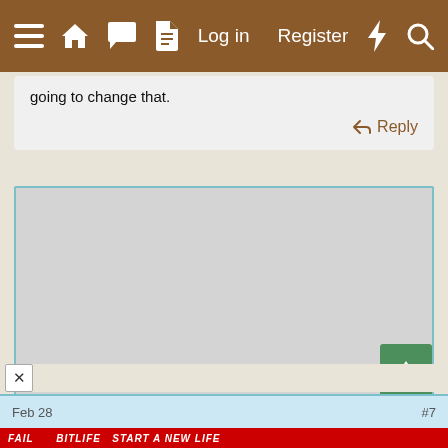[Figure (screenshot): Mobile forum website navigation bar with brown background showing hamburger menu, home, chat, document icons on left, and Log in, Register, lightning bolt, and search icons on right]
going to change that.
Reply
[Figure (screenshot): Large empty gray content area with teal/blue border, containing scroll up and scroll down green buttons on the right side]
Feb 28
#7
[Figure (screenshot): Advertisement banner for BitLife game showing FAIL text, animated characters, fire graphics, and START A NEW LIFE tagline]